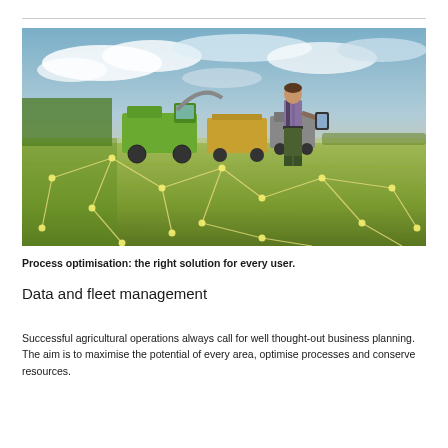[Figure (photo): A farmer standing in a green field holding a tablet/clipboard, with agricultural harvesting machinery (green combine harvester and trailer) visible in the background. The sky is partly cloudy. An overlaid network/connectivity graphic of glowing white nodes and lines covers the field, symbolising digital connectivity in agriculture.]
Process optimisation: the right solution for every user.
Data and fleet management
Successful agricultural operations always call for well thought-out business planning. The aim is to maximise the potential of every area, optimise processes and conserve resources.